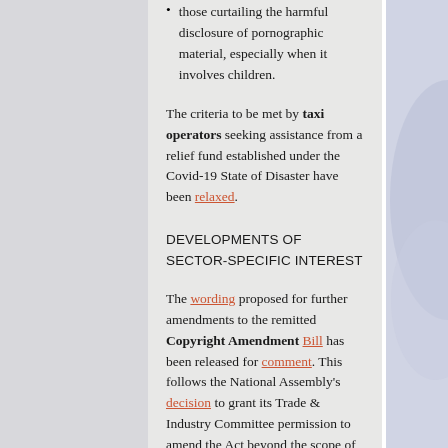those curtailing the harmful disclosure of pornographic material, especially when it involves children.
The criteria to be met by taxi operators seeking assistance from a relief fund established under the Covid-19 State of Disaster have been relaxed.
DEVELOPMENTS OF SECTOR-SPECIFIC INTEREST
The wording proposed for further amendments to the remitted Copyright Amendment Bill has been released for comment. This follows the National Assembly's decision to grant its Trade & Industry Committee permission to amend the Act beyond the scope of